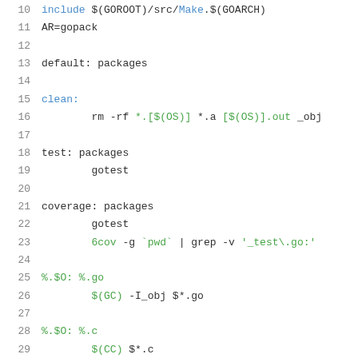Code listing lines 10-31 of a Makefile
10  include $(GOROOT)/src/Make.$(GOARCH)
11  AR=gopack
12  (empty)
13  default: packages
14  (empty)
15  clean:
16          rm -rf *.[$(OS)] *.a [$(OS)].out _obj
17  (empty)
18  test: packages
19          gotest
20  (empty)
21  coverage: packages
22          gotest
23          6cov -g `pwd` | grep -v '_test\.go:'
24  (empty)
25  %.$O: %.go
26          $(GC) -I_obj $*.go
27  (empty)
28  %.$O: %.c
29          $(CC) $*.c
30  (empty)
31  %.$O: %.s